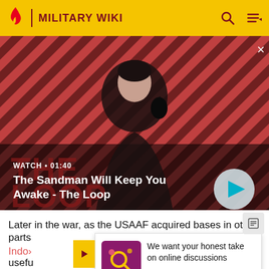Military Wiki
[Figure (screenshot): Video thumbnail showing a dark-robed figure with a bird on shoulder against red and dark diagonal stripes background. Title: 'The Sandman Will Keep You Awake - The Loop'. Duration label: WATCH • 01:40]
WATCH • 01:40
The Sandman Will Keep You Awake - The Loop
Later in the war, as the USAAF acquired bases in other parts
Indo...
usefu...
short...
[Figure (infographic): Survey popup with pink/purple icon showing: 'We want your honest take on online discussions' and link 'SURVEY: ONLINE FORUMS']
We want your honest take on online discussions
SURVEY: ONLINE FORUMS